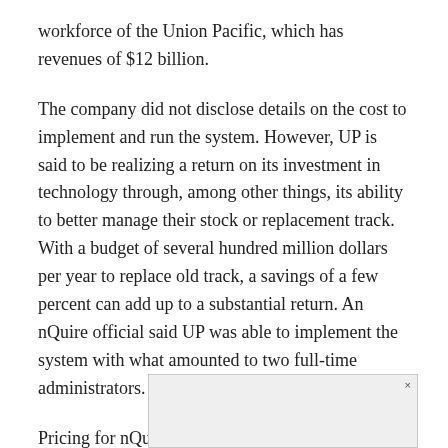workforce of the Union Pacific, which has revenues of $12 billion.
The company did not disclose details on the cost to implement and run the system. However, UP is said to be realizing a return on its investment in technology through, among other things, its ability to better manage their stock or replacement track. With a budget of several hundred million dollars per year to replace old track, a savings of a few percent can add up to a substantial return. An nQuire official said UP was able to implement the system with what amounted to two full-time administrators.
Pricing for nQuire's server implementation starts at $225,000, with addition licensing or subscription fees being charged on a per-user basis, according to a company official. The company, which w[...] in 1999, counts a[...] hat